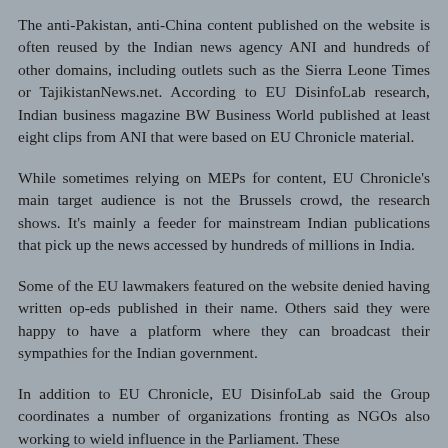The anti-Pakistan, anti-China content published on the website is often reused by the Indian news agency ANI and hundreds of other domains, including outlets such as the Sierra Leone Times or TajikistanNews.net. According to EU DisinfoLab research, Indian business magazine BW Business World published at least eight clips from ANI that were based on EU Chronicle material.
While sometimes relying on MEPs for content, EU Chronicle's main target audience is not the Brussels crowd, the research shows. It's mainly a feeder for mainstream Indian publications that pick up the news accessed by hundreds of millions in India.
Some of the EU lawmakers featured on the website denied having written op-eds published in their name. Others said they were happy to have a platform where they can broadcast their sympathies for the Indian government.
In addition to EU Chronicle, EU DisinfoLab said the Group coordinates a number of organizations fronting as NGOs also working to wield influence in the Parliament. These